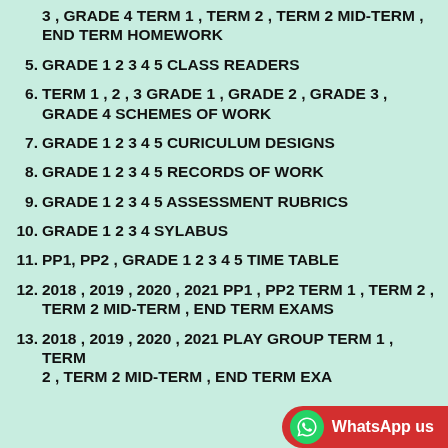3 , GRADE 4 TERM 1 , TERM 2 , TERM 2 MID-TERM , END TERM HOMEWORK
5. GRADE 1 2 3 4 5 CLASS READERS
6. TERM 1 , 2 , 3 GRADE 1 , GRADE 2 , GRADE 3 , GRADE 4 SCHEMES OF WORK
7. GRADE 1 2 3 4 5 CURICULUM DESIGNS
8. GRADE 1 2 3 4 5 RECORDS OF WORK
9. GRADE 1 2 3 4 5 ASSESSMENT RUBRICS
10. GRADE 1 2 3 4 SYLABUS
11. PP1, PP2 , GRADE 1 2 3 4 5 TIME TABLE
12. 2018 , 2019 , 2020 , 2021 PP1 , PP2 TERM 1 , TERM 2 , TERM 2 MID-TERM , END TERM EXAMS
13. 2018 , 2019 , 2020 , 2021 PLAY GROUP TERM 1 , TERM 2 , TERM 2 MID-TERM , END TERM EXAMS